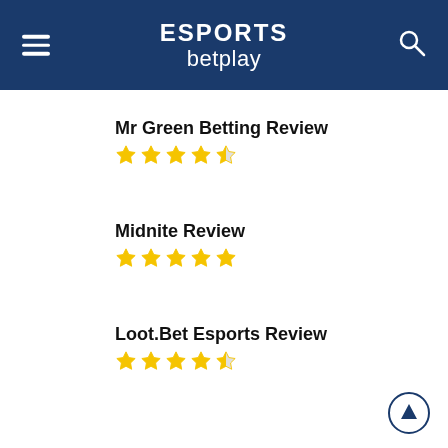ESPORTS betplay
Mr Green Betting Review
[Figure (other): 4.5 star rating — 4 full stars and 1 half star in gold]
Midnite Review
[Figure (other): 5 star rating — 5 full stars in gold]
Loot.Bet Esports Review
[Figure (other): 4.5 star rating — 4 full stars and 1 half star in gold]